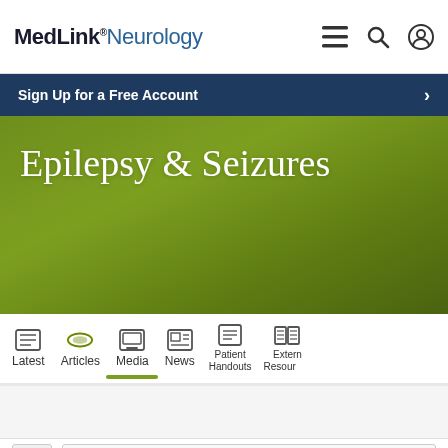MedLink® Neurology
Sign Up for a Free Account
Epilepsy & Seizures
[Figure (screenshot): Tab navigation bar with icons for Latest, Articles, Media, News, Patient Handouts, External Resources]
[Figure (screenshot): Bottom content area with icon box and a button placeholder]